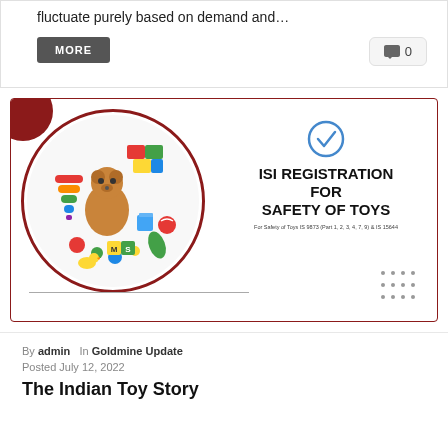fluctuate purely based on demand and…
MORE
💬 0
[Figure (illustration): ISI Registration for Safety of Toys promotional card with a circular image of colorful toys and teddy bears, a blue checkmark circle, bold text 'ISI REGISTRATION FOR SAFETY OF TOYS', and subtitle 'For Safety of Toys IS 9873 (Part 1, 2, 3, 4, 7, 9) & IS 15644']
By admin  In Goldmine Update
Posted July 12, 2022
The Indian Toy Story